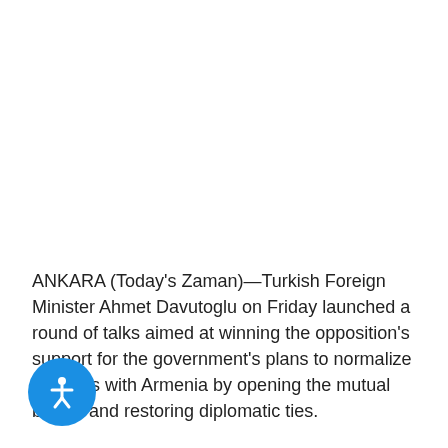ANKARA (Today's Zaman)—Turkish Foreign Minister Ahmet Davutoglu on Friday launched a round of talks aimed at winning the opposition's support for the government's plans to normalize relations with Armenia by opening the mutual border and restoring diplomatic ties.

Davutoglu met with Parliament Speaker Mehmet Ali Sahin.